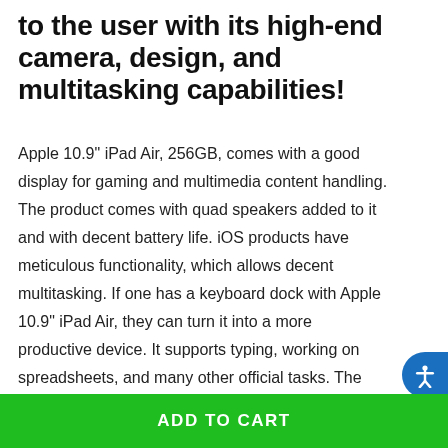to the user with its high-end camera, design, and multitasking capabilities!
Apple 10.9" iPad Air, 256GB, comes with a good display for gaming and multimedia content handling. The product comes with quad speakers added to it and with decent battery life. iOS products have meticulous functionality, which allows decent multitasking. If one has a keyboard dock with Apple 10.9" iPad Air, they can turn it into a more productive device. It supports typing, working on spreadsheets, and many other official tasks. The device also supports iPad Pro peripherals. Though Apple iPad Air models don't have the LiDAR sensor, the 120Hz display, or the Pro's dual-camera, it rightfully compensates to lure the existing iPad users into upgrading their iPads to Air, leaving behind the trouble of breaking the bank.
ADD TO CART